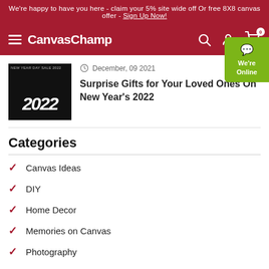We're happy to have you here - claim your 5% site wide off Or free 8X8 canvas offer - Sign Up Now!
CanvasChamp
[Figure (photo): Dark thumbnail image with '2022' text for New Year's blog post]
December, 09 2021
Surprise Gifts for Your Loved Ones On New Year's 2022
Categories
Canvas Ideas
DIY
Home Decor
Memories on Canvas
Photography
Photo Contest
Gifts